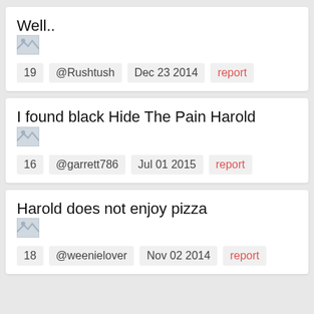Well..
[Figure (photo): Broken image placeholder]
19   @Rushtush   Dec 23 2014   report
I found black Hide The Pain Harold
[Figure (photo): Broken image placeholder]
16   @garrett786   Jul 01 2015   report
Harold does not enjoy pizza
[Figure (photo): Broken image placeholder]
18   @weenielover   Nov 02 2014   report